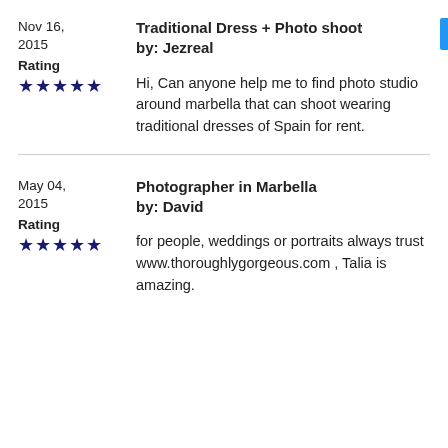Nov 16, 2015
Traditional Dress + Photo shoot by: Jezreal
Rating
★★★★★
Hi, Can anyone help me to find photo studio around marbella that can shoot wearing traditional dresses of Spain for rent.
May 04, 2015
Photographer in Marbella by: David
Rating
★★★★★
for people, weddings or portraits always trust www.thoroughlygorgeous.com , Talia is amazing.